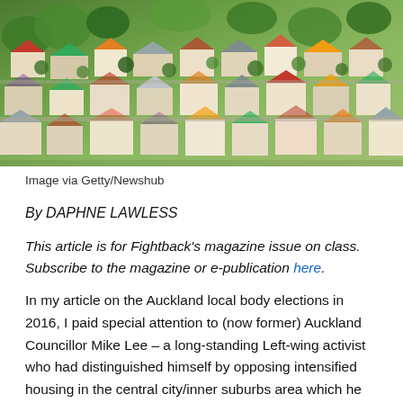[Figure (photo): Aerial photograph of a dense suburban residential area with houses, rooftops in various colors (green, red, orange, white), and tree canopy. Image source: Getty/Newshub.]
Image via Getty/Newshub
By DAPHNE LAWLESS
This article is for Fightback's magazine issue on class. Subscribe to the magazine or e-publication here.
In my article on the Auckland local body elections in 2016, I paid special attention to (now former) Auckland Councillor Mike Lee – a long-standing Left-wing activist who had distinguished himself by opposing intensified housing in the central city/inner suburbs area which he represented.1 Although the debate has moved on in